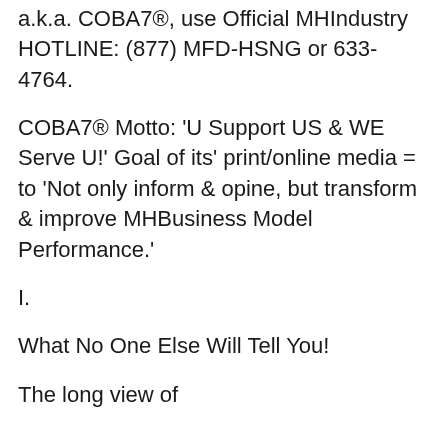a.k.a. COBA7®, use Official MHIndustry HOTLINE: (877) MFD-HSNG or 633-4764.
COBA7® Motto: 'U Support US & WE Serve U!' Goal of its' print/online media = to 'Not only inform & opine, but transform & improve MHBusiness Model Performance.'
I.
What No One Else Will Tell You!
The long view of